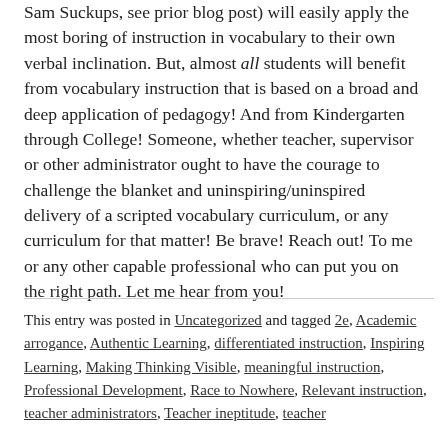Sam Suckups, see prior blog post) will easily apply the most boring of instruction in vocabulary to their own verbal inclination. But, almost all students will benefit from vocabulary instruction that is based on a broad and deep application of pedagogy! And from Kindergarten through College! Someone, whether teacher, supervisor or other administrator ought to have the courage to challenge the blanket and uninspiring/uninspired delivery of a scripted vocabulary curriculum, or any curriculum for that matter! Be brave! Reach out! To me or any other capable professional who can put you on the right path. Let me hear from you!
This entry was posted in Uncategorized and tagged 2e, Academic arrogance, Authentic Learning, differentiated instruction, Inspiring Learning, Making Thinking Visible, meaningful instruction, Professional Development, Race to Nowhere, Relevant instruction, teacher administrators, Teacher ineptitude, teacher